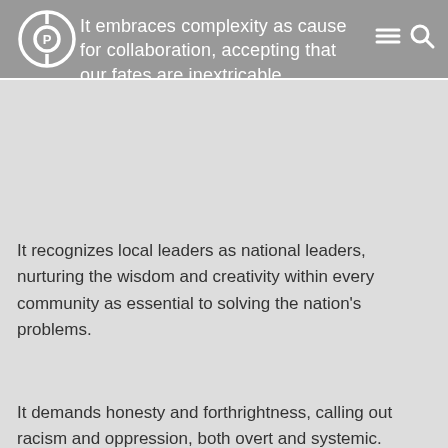It embraces complexity as cause for collaboration, accepting that our fates are inextricable.
It recognizes local leaders as national leaders, nurturing the wisdom and creativity within every community as essential to solving the nation's problems.
It demands honesty and forthrightness, calling out racism and oppression, both overt and systemic.
It strives for the power to realize our goals while summoning the grace to sustain